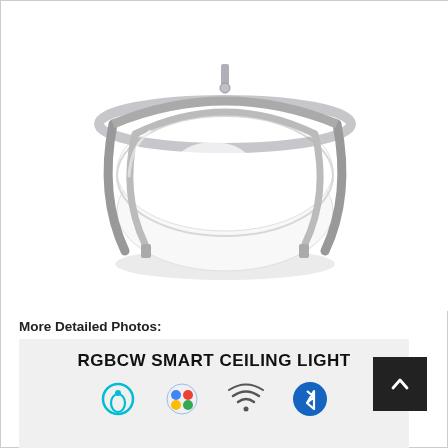[Figure (photo): Round flush-mount LED ceiling light with brushed nickel double-ring frame and white frosted glass diffuser]
More Detailed Photos:
[Figure (infographic): RGBCW SMART CEILING LIGHT banner with icons for Alexa, Google Assistant, Wi-Fi, and Bluetooth]
[Figure (other): Back to top button (dark square with up arrow)]